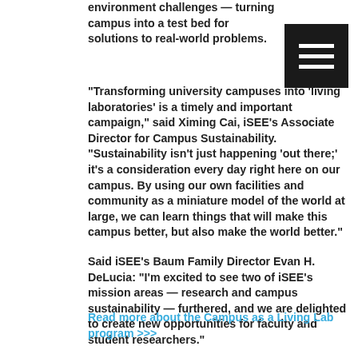environment challenges — turning campus into a test bed for solutions to real-world problems.
[Figure (other): Black square menu/hamburger icon with three white horizontal lines]
“Transforming university campuses into ‘living laboratories’ is a timely and important campaign,” said Ximing Cai, iSEE’s Associate Director for Campus Sustainability. “Sustainability isn’t just happening ‘out there;’ it’s a consideration every day right here on our campus. By using our own facilities and community as a miniature model of the world at large, we can learn things that will make this campus better, but also make the world better.”
Said iSEE’s Baum Family Director Evan H. DeLucia: “I’m excited to see two of iSEE’s mission areas — research and campus sustainability — furthered, and we are delighted to create new opportunities for faculty and student researchers.”
Read more about the Campus as a Living Lab program >>>